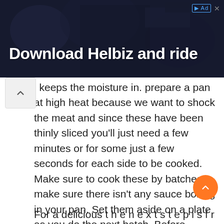[Figure (photo): Advertisement banner with dark background showing a person with camera equipment. Text reads 'Download Helbiz and ride' in white bold font. Has an ad badge icon and close button in top right.]
l keeps the moisture in. prepare a pan at high heat because we want to shock the meat and since these have been thinly sliced you'll just need a few minutes or for some just a few seconds for each side to be cooked. Make sure to cook these by batches to make sure there isn't any sauce boiling in your pan. Set them aside on a plate as you do the next batch. Before serving, place all the beef strips back to be heated all together for a few minutes and ta da! Your delicious quick and easy tasty beef dish is ready!
For a delicious t h e n e x t s t e p i s f r y i n g i t w i th